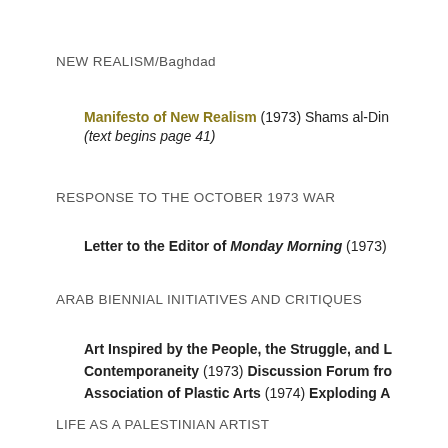NEW REALISM/Baghdad
Manifesto of New Realism (1973) Shams al-Din... (text begins page 41)
RESPONSE TO THE OCTOBER 1973 WAR
Letter to the Editor of Monday Morning (1973)
ARAB BIENNIAL INITIATIVES AND CRITIQUES
Art Inspired by the People, the Struggle, and L... Contemporaneity (1973) Discussion Forum fro... Association of Plastic Arts (1974) Exploding A...
LIFE AS A PALESTINIAN ARTIST
The Palestinian People's Consciousness and ...
UNARTICULATED NOTES...